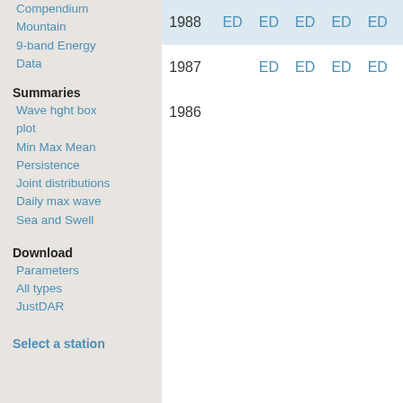Compendium Mountain
9-band Energy Data
Summaries
Wave hght box plot
Min Max Mean
Persistence
Joint distributions
Daily max wave
Sea and Swell
Download
Parameters
All types
JustDAR
Select a station
| Year | Col1 | Col2 | Col3 | Col4 | Col5 |
| --- | --- | --- | --- | --- | --- |
| 1988 | ED | ED | ED | ED | ED |
| 1987 |  | ED | ED | ED | ED |
| 1986 |  |  |  |  |  |